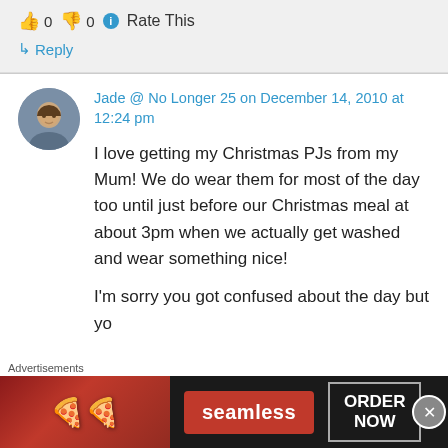👍 0 👎 0 ℹ Rate This
↳ Reply
Jade @ No Longer 25 on December 14, 2010 at 12:24 pm
I love getting my Christmas PJs from my Mum! We do wear them for most of the day too until just before our Christmas meal at about 3pm when we actually get washed and wear something nice!
I'm sorry you got confused about the day but yo
Advertisements
[Figure (photo): Seamless food delivery advertisement showing pizza image, Seamless logo, and ORDER NOW button]